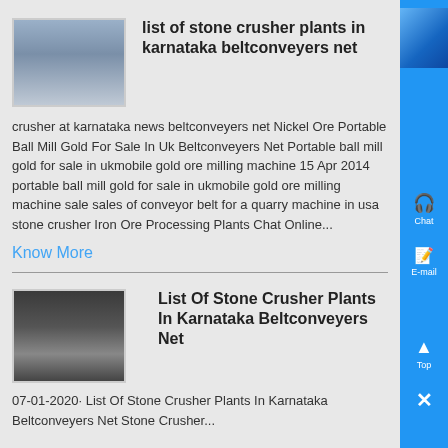list of stone crusher plants in karnataka beltconveyers net
crusher at karnataka news beltconveyers net Nickel Ore Portable Ball Mill Gold For Sale In Uk Beltconveyers Net Portable ball mill gold for sale in ukmobile gold ore milling machine 15 Apr 2014 portable ball mill gold for sale in ukmobile gold ore milling machine sale sales of conveyor belt for a quarry machine in usa stone crusher Iron Ore Processing Plants Chat Online...
Know More
List Of Stone Crusher Plants In Karnataka Beltconveyers Net
07-01-2020· List Of Stone Crusher Plants In Karnataka Beltconveyers Net Stone Crusher...